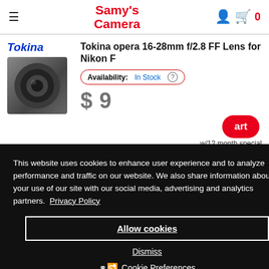Samy's Camera
[Figure (screenshot): Tokina lens product image (camera lens, dark grey)]
Tokina opera 16-28mm f/2.8 FF Lens for Nikon F
Availability: In Stock
This website uses cookies to enhance user experience and to analyze performance and traffic on our website. We also share information about your use of our site with our social media, advertising and analytics partners.  Privacy Policy
Allow cookies
Dismiss
Cookie Preferences
w/12 month special
More
ping
Tokina  Tokina opera 16-28mm f/2.8 FF Lens